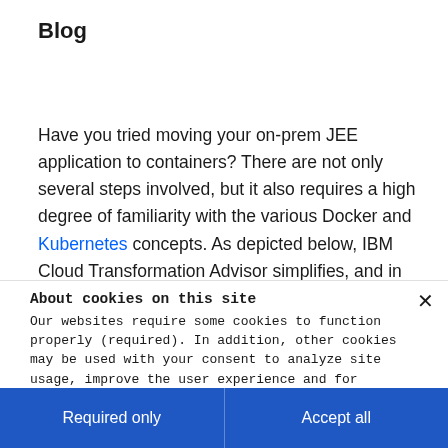Blog
Have you tried moving your on-prem JEE application to containers? There are not only several steps involved, but it also requires a high degree of familiarity with the various Docker and Kubernetes concepts. As depicted below, IBM Cloud Transformation Advisor simplifies, and in many cases automates, the process for you:
About cookies on this site
Our websites require some cookies to function properly (required). In addition, other cookies may be used with your consent to analyze site usage, improve the user experience and for advertising.

For more information, please review your Cookie preferences options and IBM's privacy statement.